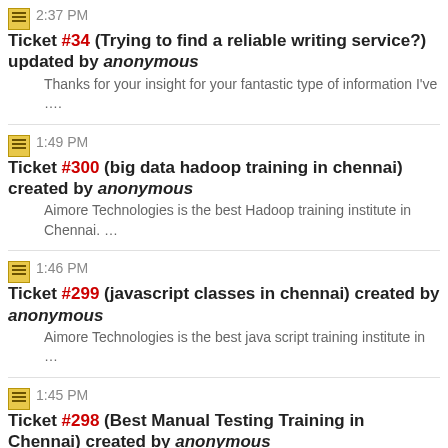2:37 PM Ticket #34 (Trying to find a reliable writing service?) updated by anonymous
Thanks for your insight for your fantastic type of information I've ….
1:49 PM Ticket #300 (big data hadoop training in chennai) created by anonymous
Aimore Technologies is the best Hadoop training institute in Chennai. ….
1:46 PM Ticket #299 (javascript classes in chennai) created by anonymous
Aimore Technologies is the best java script training institute in ….
1:45 PM Ticket #298 (Best Manual Testing Training in Chennai) created by anonymous
Aimoretech is the best manual testing training institute in Chennai. ….
1:43 PM Ticket #297 (ASP.NET Training Institute in Chennai) created by anonymous
Aimore Technologies is the best asp.net training institute in Chennai.